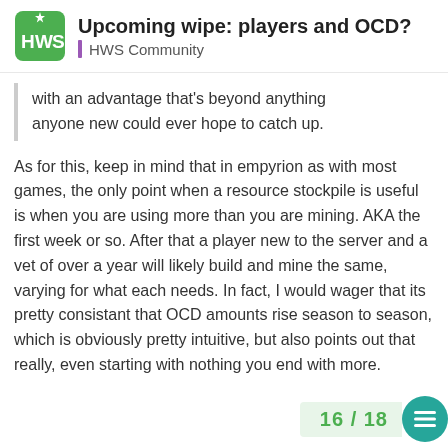Upcoming wipe: players and OCD? | HWS Community
with an advantage that's beyond anything anyone new could ever hope to catch up.
As for this, keep in mind that in empyrion as with most games, the only point when a resource stockpile is useful is when you are using more than you are mining. AKA the first week or so. After that a player new to the server and a vet of over a year will likely build and mine the same, varying for what each needs. In fact, I would wager that its pretty consistant that OCD amounts rise season to season, which is obviously pretty intuitive, but also points out that really, even starting with nothing you end with more.
16 / 18